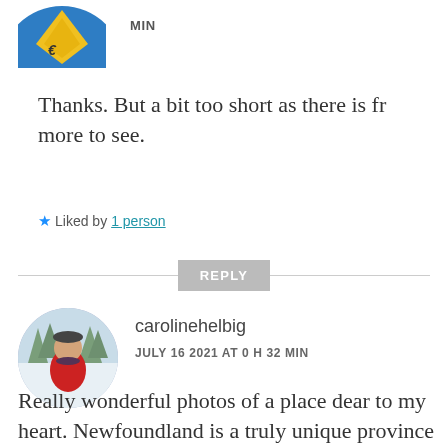[Figure (photo): Partial circular avatar cropped at top, showing blue and yellow logo design]
MIN
Thanks. But a bit too short as there is fr more to see.
★ Liked by 1 person
REPLY
[Figure (photo): Circular profile photo of carolinehelbig, a person in a red jacket in a snowy winter outdoor setting]
carolinehelbig
JULY 16 2021 AT 0 H 32 MIN
Really wonderful photos of a place dear to my heart. Newfoundland is a truly unique province in Canada. I'm grateful that I lived there for two years.